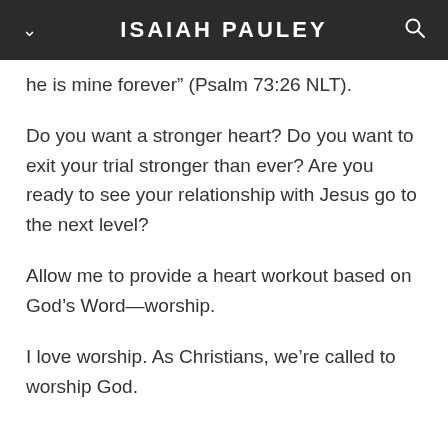ISAIAH PAULEY
he is mine forever” (Psalm 73:26 NLT).
Do you want a stronger heart? Do you want to exit your trial stronger than ever? Are you ready to see your relationship with Jesus go to the next level?
Allow me to provide a heart workout based on God’s Word—worship.
I love worship. As Christians, we’re called to worship God.